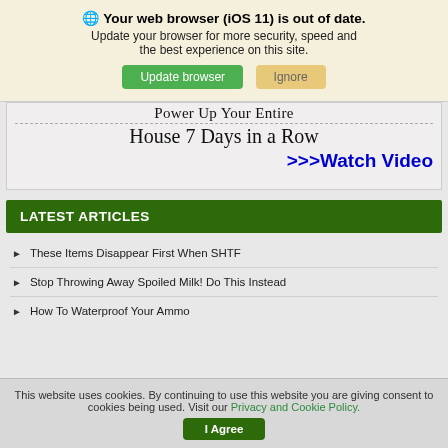Your web browser (iOS 11) is out of date. Update your browser for more security, speed and the best experience on this site.
[Figure (screenshot): Browser update notification banner with 'Update browser' green button and 'Ignore' tan button]
[Figure (screenshot): Advertisement banner showing text 'Power Up Your Entire House 7 Days in a Row >>>Watch Video']
LATEST ARTICLES
These Items Disappear First When SHTF
Stop Throwing Away Spoiled Milk! Do This Instead
How To Waterproof Your Ammo
This website uses cookies. By continuing to use this website you are giving consent to cookies being used. Visit our Privacy and Cookie Policy. I Agree